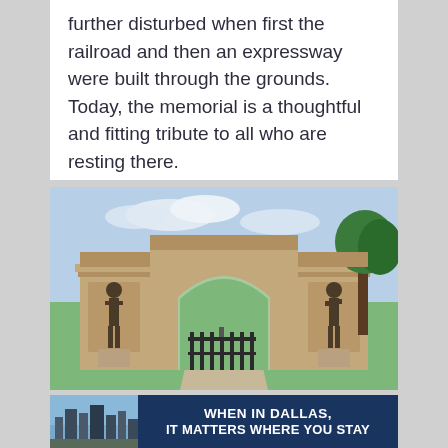further disturbed when first the railroad and then an expressway were built through the grounds. Today, the memorial is a thoughtful and fitting tribute to all who are resting there.
[Figure (photo): Photograph of a memorial gate structure with a large stone arch, iron gates, and two bronze statues on pedestals flanking the entrance. A tree is visible on the right and a green lawn extends beyond the gate.]
[Figure (photo): Small advertisement photo showing a Dallas cityscape.]
WHEN IN DALLAS, IT MATTERS WHERE YOU STAY